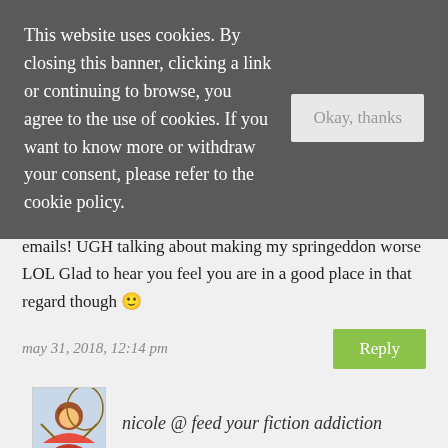This website uses cookies. By closing this banner, clicking a link or continuing to browse, you agree to the use of cookies. If you want to know more or withdraw your consent, please refer to the cookie policy.
Okay, thanks
Oh yeah that GDPR thingy and all the updated policies emails! UGH talking about making my springeddon worse LOL Glad to hear you feel you are in a good place in that regard though 🙂
may 31, 2018, 12:14 pm
Reply
nicole @ feed your fiction addiction
Yes, definitely look at the Scholastic website for their warehouse sales. I think they have them all over the country.